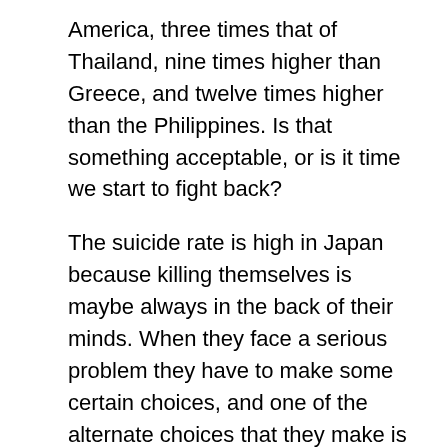America, three times that of Thailand, nine times higher than Greece, and twelve times higher than the Philippines. Is that something acceptable, or is it time we start to fight back?
The suicide rate is high in Japan because killing themselves is maybe always in the back of their minds. When they face a serious problem they have to make some certain choices, and one of the alternate choices that they make is suicide.
One of the features of suicide in Japan is the weakness of people to suggestion. Look at how often Japanese people try to find others to die with, others who share the same despair. So they will search online to find each other, and they make plans to die together. There are lots of Japanese who do this. The feeling behind this behavior is that it seems more reassuring and safe to be with